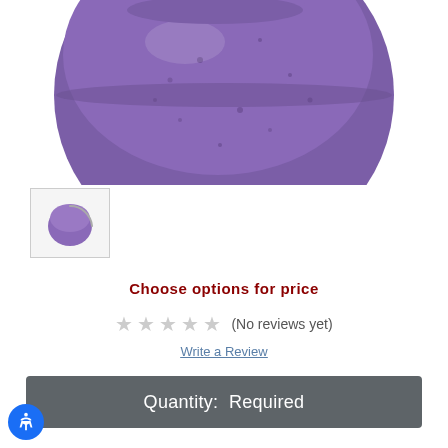[Figure (photo): A round purple/lavender bath bomb photographed against a white background, showing the spherical product from a close-up angle.]
[Figure (photo): Small thumbnail image of the bath bomb product in a bordered square frame with a loading spinner.]
Choose options for price
★★★★★ (No reviews yet)
Write a Review
Quantity:  Required